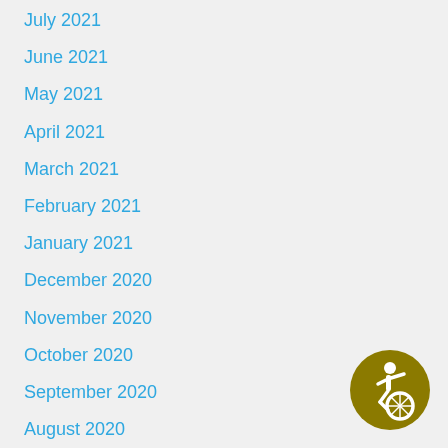July 2021
June 2021
May 2021
April 2021
March 2021
February 2021
January 2021
December 2020
November 2020
October 2020
September 2020
August 2020
July 2020
June 2020
[Figure (logo): Accessibility icon: golden/olive circle with stylized wheelchair user symbol in white]